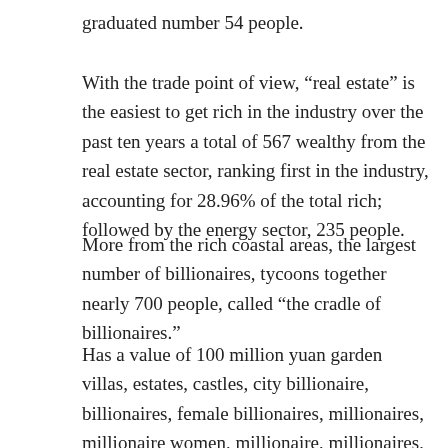graduated number 54 people.
With the trade point of view, “real estate” is the easiest to get rich in the industry over the past ten years a total of 567 wealthy from the real estate sector, ranking first in the industry, accounting for 28.96% of the total rich; followed by the energy sector, 235 people.
More from the rich coastal areas, the largest number of billionaires, tycoons together nearly 700 people, called “the cradle of billionaires.”
Has a value of 100 million yuan garden villas, estates, castles, city billionaire, billionaires, female billionaires, millionaires, millionaire women, millionaire, millionaires, female millionaires, millionaires, with the value of one